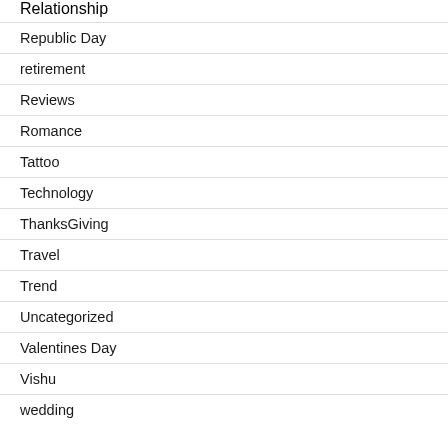Relationship
Republic Day
retirement
Reviews
Romance
Tattoo
Technology
ThanksGiving
Travel
Trend
Uncategorized
Valentines Day
Vishu
wedding